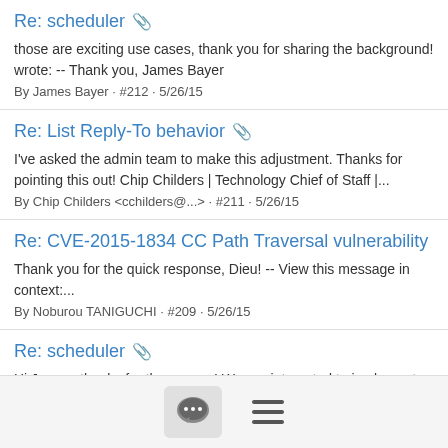Re: scheduler 📎
those are exciting use cases, thank you for sharing the background! wrote: -- Thank you, James Bayer
By James Bayer · #212 · 5/26/15
Re: List Reply-To behavior 📎
I've asked the admin team to make this adjustment. Thanks for pointing this out! Chip Childers | Technology Chief of Staff |...
By Chip Childers <cchilders@...> · #211 · 5/26/15
Re: CVE-2015-1834 CC Path Traversal vulnerability
Thank you for the quick response, Dieu! -- View this message in context:...
By Noburou TANIGUCHI · #209 · 5/26/15
Re: scheduler 📎
Hi James, thanks for the answer! We are interested to implement a job scheduler for CF. Do you think this could be interesting to...
[Figure (screenshot): Bottom navigation bar with a chat bubble icon button and a hamburger menu icon]